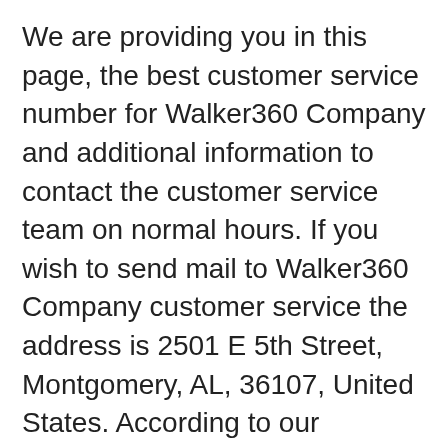We are providing you in this page, the best customer service number for Walker360 Company and additional information to contact the customer service team on normal hours. If you wish to send mail to Walker360 Company customer service the address is 2501 E 5th Street, Montgomery, AL, 36107, United States. According to our records, this is the most up-to-date customer service number for Walker360 Company.